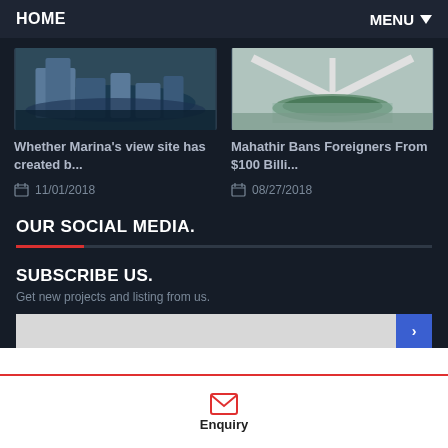HOME   MENU
[Figure (photo): Aerial photo of Marina Bay area with waterfront buildings and bay]
Whether Marina's view site has created b...
11/01/2018
[Figure (photo): Interior of a large modern airport or building with reflective floor and greenery]
Mahathir Bans Foreigners From $100 Billi...
08/27/2018
OUR SOCIAL MEDIA.
SUBSCRIBE US.
Get new projects and listing from us.
Enquiry